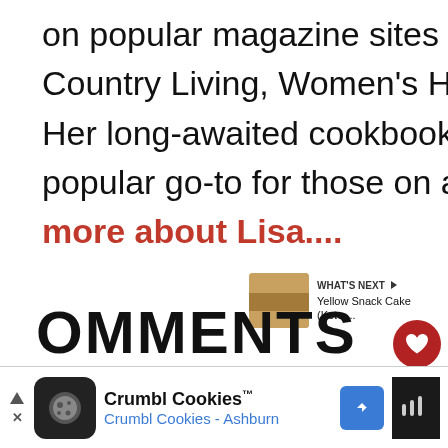on popular magazine sites including Fitness, Shape, Country Living, Women's Health, and Men's Health. Her long-awaited cookbook, 5-Ingredient Keto, is also a popular go-to for those on a low-carb lifestyle. Learn more about Lisa....
[Figure (other): Heart/like icon button (red circle) with 5.1K count, and share icon button (white circle) below it]
[Figure (other): WHAT'S NEXT arrow label with thumbnail image of Yellow Snack Cake (Keto,...)]
COMMENTS
[Figure (other): Advertisement banner: Crumbl Cookies™ / Crumbl Cookies - Ashburn with logo, navigation arrow icon, and audio icon]